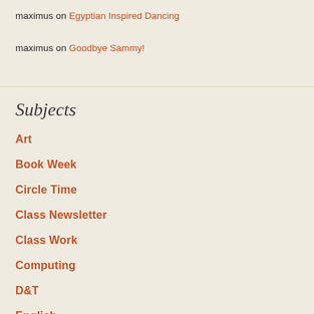maximus on Egyptian Inspired Dancing
maximus on Goodbye Sammy!
Subjects
Art
Book Week
Circle Time
Class Newsletter
Class Work
Computing
D&T
English
Forest Schools
French